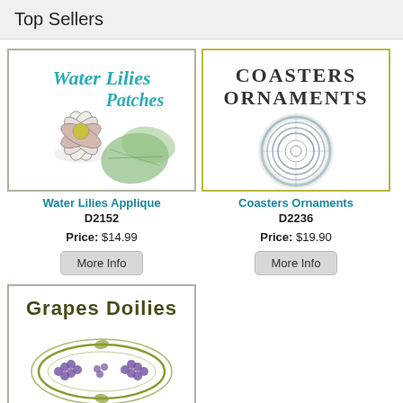Top Sellers
[Figure (illustration): Water Lilies Patches product image showing a water lily flower with green leaves and teal script text]
Water Lilies Applique
D2152
Price:  $14.99
More Info
[Figure (illustration): Coasters Ornaments product image showing a silver ornamental circular doily and bold serif text]
Coasters Ornaments
D2236
Price:  $19.90
More Info
[Figure (illustration): Grapes Doilies product image showing decorative grape clusters with olive green ornamental frame and stylized text]